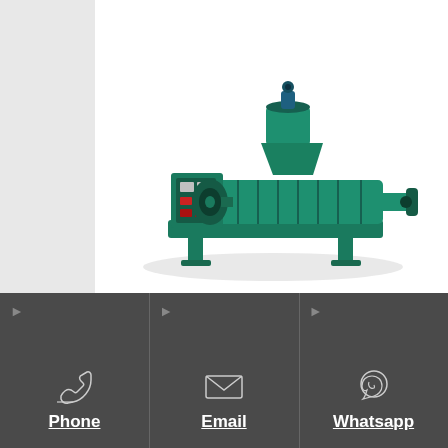[Figure (photo): Green corn germ oil expeller machine — industrial screw press with hopper on top, control panel on the side, and pressing barrel extending horizontally]
high oil yield rate corn germ oil expeller for edible oil belarus
High Output Mustard Seeds Oil
Phone
Email
Whatsapp